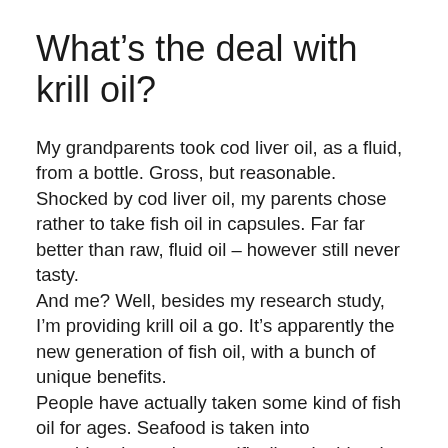What’s the deal with krill oil?
My grandparents took cod liver oil, as a fluid, from a bottle. Gross, but reasonable. Shocked by cod liver oil, my parents chose rather to take fish oil in capsules. Far far better than raw, fluid oil – however still never tasty.
And me? Well, besides my research study, I’m providing krill oil a go. It’s apparently the new generation of fish oil, with a bunch of unique benefits.
People have actually taken some kind of fish oil for ages. Seafood is taken into consideration to be specifically valuable when included in the diet regimen, and also